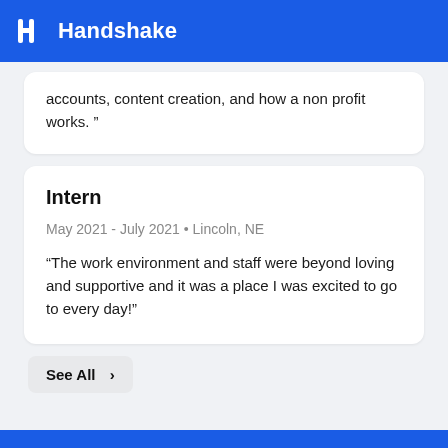Handshake
accounts, content creation, and how a non profit works. "
Intern
May 2021 - July 2021 • Lincoln, NE
“The work environment and staff were beyond loving and supportive and it was a place I was excited to go to every day!"
See All >